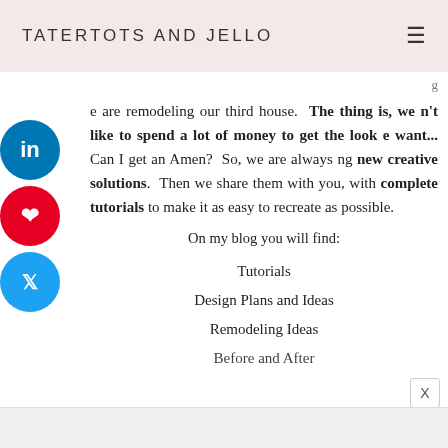TATERTOTS AND JELLO
e are remodeling our third house. The thing is, we n't like to spend a lot of money to get the look e want... Can I get an Amen? So, we are always ng new creative solutions. Then we share them with you, with complete tutorials to make it as easy to recreate as possible.
On my blog you will find:
Tutorials
Design Plans and Ideas
Remodeling Ideas
Before and After